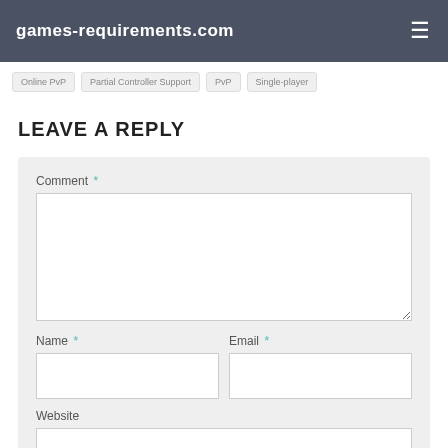games-requirements.com
Online PvP
Partial Controller Support
PvP
Single-player
LEAVE A REPLY
Comment *
Name *
Email *
Website